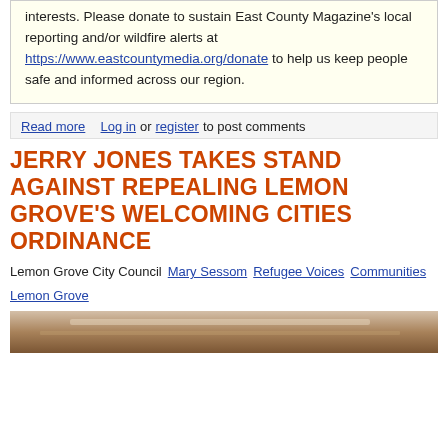interests. Please donate to sustain East County Magazine's local reporting and/or wildfire alerts at https://www.eastcountymedia.org/donate to help us keep people safe and informed across our region.
Read more   Log in or register to post comments
JERRY JONES TAKES STAND AGAINST REPEALING LEMON GROVE'S WELCOMING CITIES ORDINANCE
Lemon Grove City Council   Mary Sessom   Refugee Voices   Communities   Lemon Grove
[Figure (photo): Partial view of a photo strip showing what appears to be an indoor scene, cropped at the bottom of the page.]